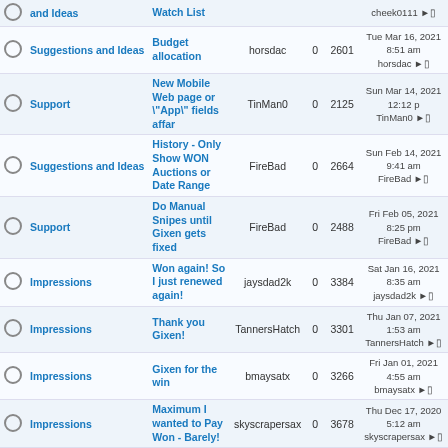|  | Category | Topic | Author | Replies | Views | Last Post |
| --- | --- | --- | --- | --- | --- | --- |
|  | and Ideas | Watch List |  |  |  | cheek0111 → |
|  | Suggestions and Ideas | Budget allocation | horsdac | 0 | 2601 | Tue Mar 16, 2021 8:51 am horsdac → |
|  | Support | New Mobile Web page or "App" fields affar | TinMan0 | 0 | 2125 | Sun Mar 14, 2021 12:12 p TinMan0 → |
|  | Suggestions and Ideas | History - Only Show WON Auctions or Date Range | FireBad | 0 | 2664 | Sun Feb 14, 2021 9:41 am FireBad → |
|  | Support | Do Manual Snipes until Gixen gets fixed | FireBad | 0 | 2488 | Fri Feb 05, 2021 8:25 pm FireBad → |
|  | Impressions | Won again! So I just renewed again! | jaysdad2k | 0 | 3384 | Sat Jan 16, 2021 8:35 am jaysdad2k → |
|  | Impressions | Thank you Gixen! | TannersHatch | 0 | 3301 | Thu Jan 07, 2021 1:53 am TannersHatch → |
|  | Impressions | Gixen for the win | bmaysatx | 0 | 3266 | Fri Jan 01, 2021 4:55 am bmaysatx → |
|  | Impressions | Maximum I wanted to Pay Won - Barely! | skyscrapersax | 0 | 3678 | Thu Dec 17, 2020 5:12 am skyscrapersax → |
|  | Impressions | Thank you! | Guest | 0 | 3352 | Mon Dec 07, 2020 9:01 pm Guest → |
|  | Impressions | New User | Shmaas | 0 | 3431 | Wed Nov 18, 2020 5:24 am Shmaas → |
|  | Support | iPhone App Feedback | sliderulealley | 0 | 2746 | Sat Nov 14, 2020 12:29 pm sliderulealley → |
|  | Impressions | Site works well | lysergicfuneral | 0 | 3750 | Mon Oct 12, 2020 8:36 pm lysergicfuneral → |
|  | Suggestions | Confirm bid over certain | wimmer | 0 | 3307 | Sun Oct 11, 2020 10:37 pm |